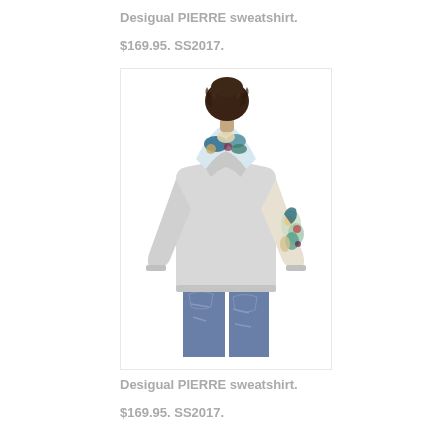Desigual PIERRE sweatshirt.
$169.95. SS2017.
[Figure (photo): Back view of a male model wearing a Desigual PIERRE sweatshirt — light grey hoodie with colorful floral print on the hood and right sleeve — paired with distressed blue jeans. Shot from behind on white background.]
Desigual PIERRE sweatshirt.
$169.95. SS2017.